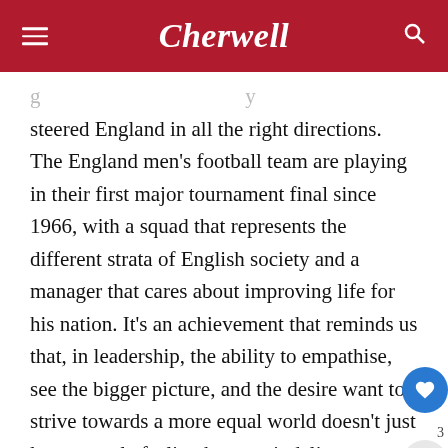Cherwell
steered England in all the right directions. The England men's football team are playing in their first major tournament final since 1966, with a squad that represents the different strata of English society and a manager that cares about improving life for his nation. It’s an achievement that reminds us that, in leadership, the ability to empathise, see the bigger picture, and the desire want to strive towards a more equal world doesn’t just leave people feeling better – it delivers results. Win or lose on Sunday, England fans should be able to take immense pride in the players’ individual behaviour and team performances, and learn from